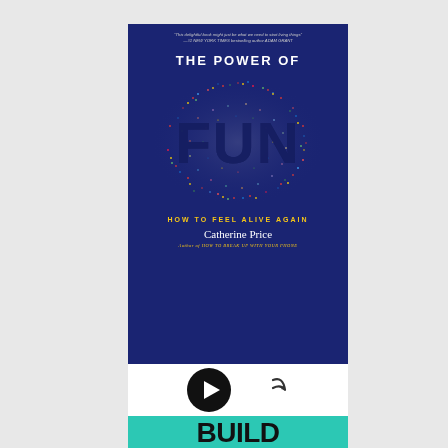[Figure (illustration): Book cover for 'The Power of Fun: How to Feel Alive Again' by Catherine Price. Dark navy blue background with a large colorful particle cloud in the center forming the word 'FUN'. White text at top reads 'THE POWER OF', yellow text reads 'HOW TO FEEL ALIVE AGAIN', white italic author name 'Catherine Price', yellow italic subtitle 'Author of HOW TO BREAK UP WITH YOUR PHONE'. Small quote text at top.]
[Figure (screenshot): Media player controls: black circular play button icon on white background, and a share/forward arrow icon to the right.]
[Figure (illustration): Partial book cover for 'Build The Damn Thing' on teal/turquoise background with large bold black text. The 'O' in 'DAMN' is replaced by a yellow star.]